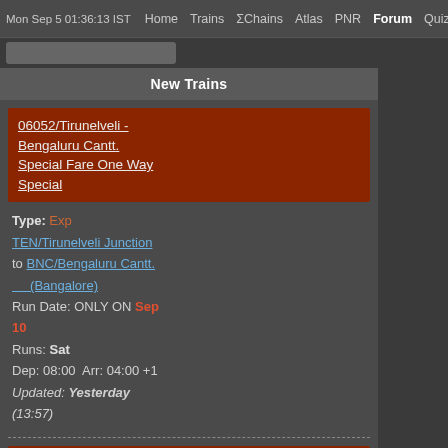Mon Sep 5 01:36:13 IST  Home  Trains  ΣChains  Atlas  PNR  Forum  Quiz F…
New Trains
06052/Tirunelveli - Bengaluru Cantt. Special Fare One Way Special
Type: Exp
TEN/Tirunelveli Junction to BNC/Bengaluru Cantt. (Bangalore)
Run Date: ONLY ON Sep 10
Runs: Sat
Dep: 08:00  Arr: 04:00 +1
Updated: Yesterday (13:57)
06056/Bengaluru Cant. - Tambaram Special Fare One Way Special
Type: Exp